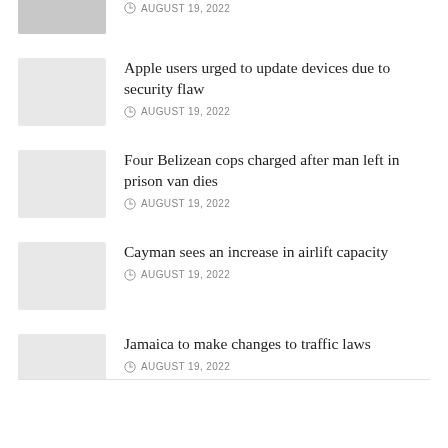[Figure (photo): Partially visible photo at top of page, cropped]
AUGUST 19, 2022
Apple users urged to update devices due to security flaw
AUGUST 19, 2022
[Figure (photo): Grey placeholder thumbnail for Apple security flaw article]
Four Belizean cops charged after man left in prison van dies
AUGUST 19, 2022
[Figure (photo): Grey placeholder thumbnail for Belizean cops article]
Cayman sees an increase in airlift capacity
AUGUST 19, 2022
[Figure (photo): Grey placeholder thumbnail for Cayman airlift article]
Jamaica to make changes to traffic laws
AUGUST 19, 2022
[Figure (photo): Grey placeholder thumbnail for Jamaica traffic laws article]